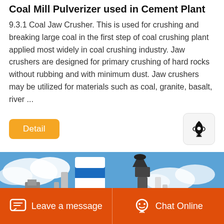Coal Mill Pulverizer used in Cement Plant
9.3.1 Coal Jaw Crusher. This is used for crushing and breaking large coal in the first step of coal crushing plant applied most widely in coal crushing industry. Jaw crushers are designed for primary crushing of hard rocks without rubbing and with minimum dust. Jaw crushers may be utilized for materials such as coal, granite, basalt, river ...
[Figure (photo): Industrial cement plant facility with blue and white cylindrical silos, pipes, and structures against a blue sky with clouds]
Leave a message   Chat Online